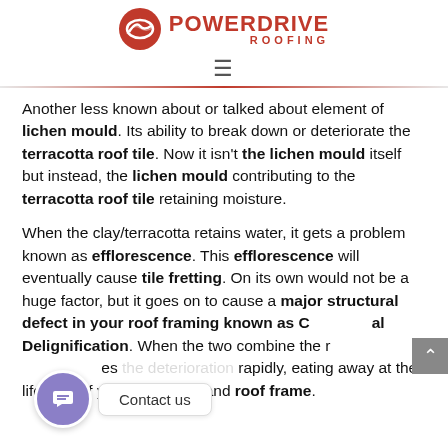POWERDRIVE ROOFING
Another less known about or talked about element of lichen mould. Its ability to break down or deteriorate the terracotta roof tile. Now it isn't the lichen mould itself but instead, the lichen mould contributing to the terracotta roof tile retaining moisture.
When the clay/terracotta retains water, it gets a problem known as efflorescence. This efflorescence will eventually cause tile fretting. On its own would not be a huge factor, but it goes on to cause a major structural defect in your roof framing known as Chemical Delignification. When the two combine the rot accelerates the deterioration rapidly, eating away at the lifespan of your roof cover and roof frame.